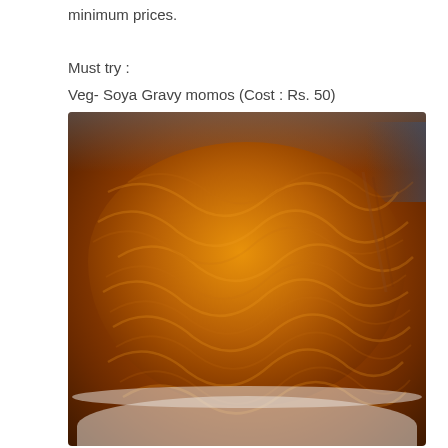minimum prices.
Must try :
Veg- Soya Gravy momos (Cost : Rs. 50)
Non veg – Chicken Gravy mimps (Cost : Rs. 60)
[Figure (photo): A large bowl of noodles in orange-brown gravy sauce, held by hands, with a fork visible on the right side.]